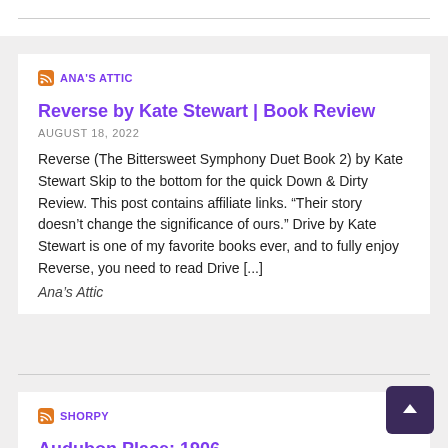ANA'S ATTIC
Reverse by Kate Stewart | Book Review
AUGUST 18, 2022
Reverse (The Bittersweet Symphony Duet Book 2) by Kate Stewart Skip to the bottom for the quick Down & Dirty Review. This post contains affiliate links. “Their story doesn’t change the significance of ours.” Drive by Kate Stewart is one of my favorite books ever, and to fully enjoy Reverse, you need to read Drive [...]
Ana’s Attic
SHORPY
Audubon Place: 1906
AUGUST 20, 2022